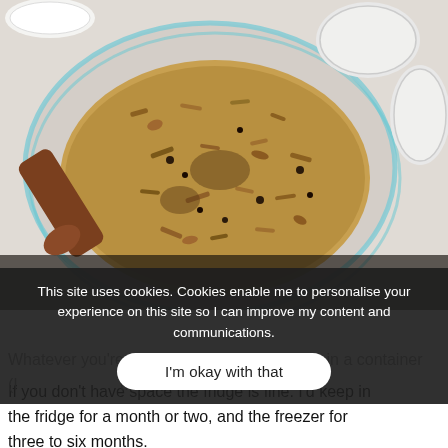[Figure (photo): A glass bowl filled with granola mixture (oats, nuts, seeds) being stirred with a wooden spoon. Several glass jar lids visible in the background on a light surface.]
This site uses cookies. Cookies enable me to personalise your experience on this site so I can improve my content and communications.
I'm okay with that
Whatever you're not using straightaway, pop in a container (I the freezer. If you don't have space the fridge is fine. I'd keep in the fridge for a month or two, and the freezer for three to six months.